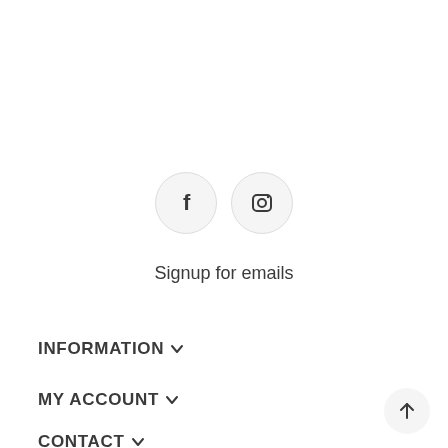[Figure (other): Two social media icon circles: Facebook (f) and Instagram (camera icon)]
Signup for emails
INFORMATION
MY ACCOUNT
CONTACT